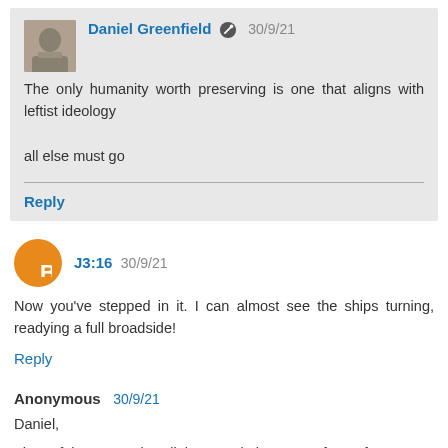Daniel Greenfield 30/9/21
The only humanity worth preserving is one that aligns with leftist ideology

all else must go
Reply
J3:16 30/9/21
Now you've stepped in it. I can almost see the ships turning, readying a full broadside!
Reply
Anonymous 30/9/21
Daniel,
The Left is constantly splitting people into some form of us